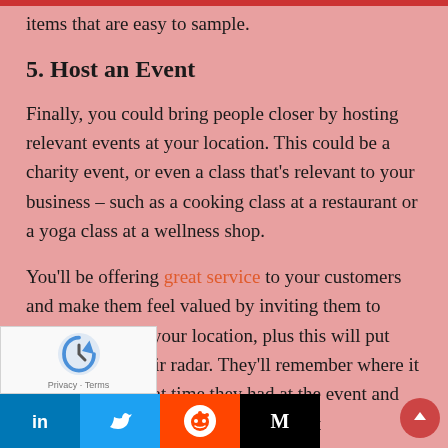items that are easy to sample.
5. Host an Event
Finally, you could bring people closer by hosting relevant events at your location. This could be a charity event, or even a class that's relevant to your business – such as a cooking class at a restaurant or a yoga class at a wellness shop.
You'll be offering great service to your customers and make them feel valued by inviting them to events hosted at your location, plus this will put your store on their radar. They'll remember where it was, [rem]ber the great time they had at the event and [poten]tially be en[couraged to visit...] s also a great